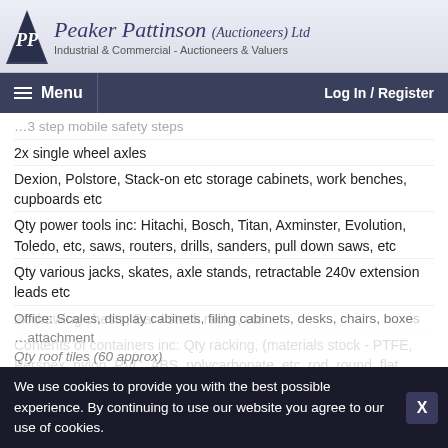PP Peaker Pattinson (Auctioneers) Ltd — Industrial & Commercial - Auctioneers & Valuers
Menu | Log In / Register
...3 step mobile safety steps
2x single wheel axles
Dexion, Polstore, Stack-on etc storage cabinets, work benches, cupboards etc
Qty power tools inc: Hitachi, Bosch, Titan, Axminster, Evolution, Toledo, etc, saws, routers, drills, sanders, pull down saws, etc
Qty various jacks, skates, axle stands, retractable 240v extension leads etc
2x drawing chests, Bar / stock racks, etc
Contents of containers inc: Qty racking, (materials stock - PTFE, Perspex, nylon, PVC, ABS, polycarbonate, etc, rod, round, flat, tubes, sheets, etc), wood & metal stocks, electrical spares, cables, sockets, acrows, oils, liquids etc
Office: Scales, display cabinets, filing cabinets, desks, chairs, boxes...
...attachment
Qty roof tiles (60 approx)
We use cookies to provide you with the best possible experience. By continuing to use our website you agree to our use of cookies.